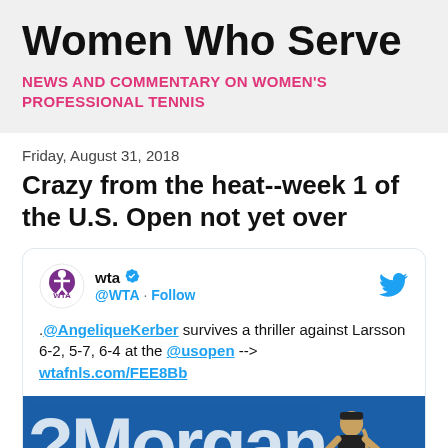Women Who Serve
NEWS AND COMMENTARY ON WOMEN'S PROFESSIONAL TENNIS
Friday, August 31, 2018
Crazy from the heat--week 1 of the U.S. Open not yet over
[Figure (screenshot): Embedded tweet from @WTA with verified badge and Twitter bird icon. Tweet text: .@AngeliqueKerber survives a thriller against Larsson 6-2, 5-7, 6-4 at the @usopen --> wtafnls.com/FEE8Bb. Below tweet text is a photo showing a blue JP Morgan banner and a female tennis player.]